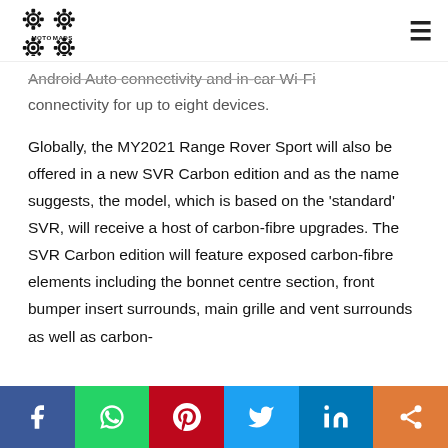MOTOMADS [logo] [hamburger menu]
Android Auto connectivity and in-car Wi-Fi connectivity for up to eight devices.
Globally, the MY2021 Range Rover Sport will also be offered in a new SVR Carbon edition and as the name suggests, the model, which is based on the ‘standard’ SVR, will receive a host of carbon-fibre upgrades. The SVR Carbon edition will feature exposed carbon-fibre elements including the bonnet centre section, front bumper insert surrounds, main grille and vent surrounds as well as carbon-
Facebook | WhatsApp | Pinterest | Twitter | LinkedIn | Share